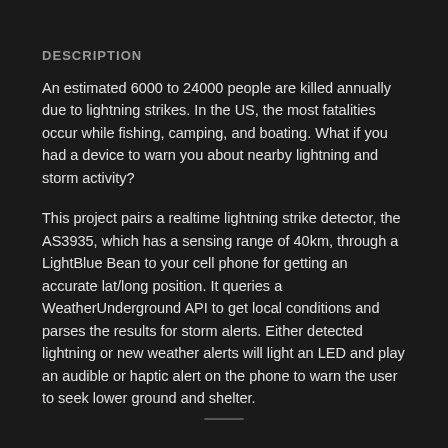DESCRIPTION
An estimated 6000 to 24000 people are killed annually due to lightning strikes. In the US, the most fatalities occur while fishing, camping, and boating. What if you had a device to warn you about nearby lightning and storm activity?
This project pairs a realtime lightning strike detector, the AS3935, which has a sensing range of 40km, through a LightBlue Bean to your cell phone for getting an accurate lat/long position. It queries a WeatherUnderground API to get local conditions and parses the results for storm alerts. Either detected lightning or new weather alerts will light an LED and play an audible or haptic alert on the phone to warn the user to seek lower ground and shelter.